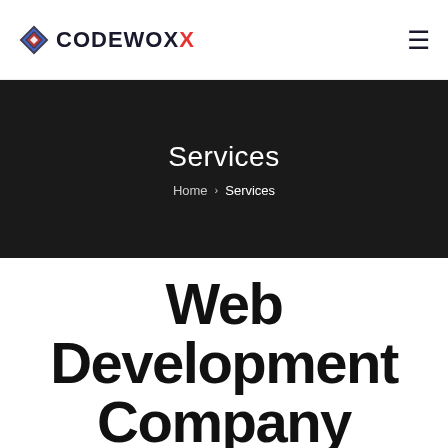CODEWOX
Services
Home > Services
Web Development Company
Codewox is a top website development giant in